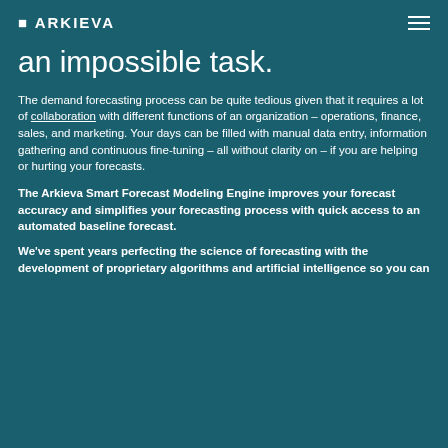ARKIEVA
an impossible task.
The demand forecasting process can be quite tedious given that it requires a lot of collaboration with different functions of an organization – operations, finance, sales, and marketing. Your days can be filled with manual data entry, information gathering and continuous fine-tuning – all without clarity on – if you are helping or hurting your forecasts.
The Arkieva Smart Forecast Modeling Engine improves your forecast accuracy and simplifies your forecasting process with quick access to an automated baseline forecast.
We've spent years perfecting the science of forecasting with the development of proprietary algorithms and artificial intelligence so you can